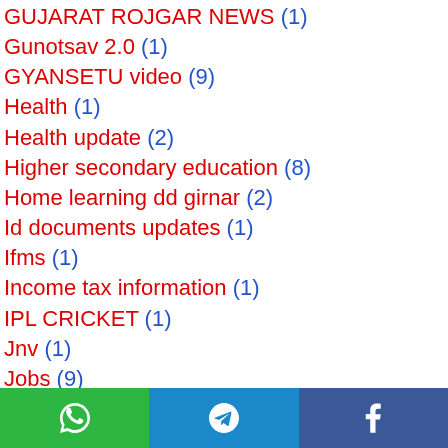GUJARAT ROJGAR NEWS (1)
Gunotsav 2.0 (1)
GYANSETU video (9)
Health (1)
Health update (2)
Higher secondary education (8)
Home learning dd girnar (2)
Id documents updates (1)
Ifms (1)
Income tax information (1)
IPL CRICKET (1)
Jnv (1)
Jobs (9)
Learn (1)
Lic policy scheme (1)
Maths science fair (1)
Mobile software tricks (1)